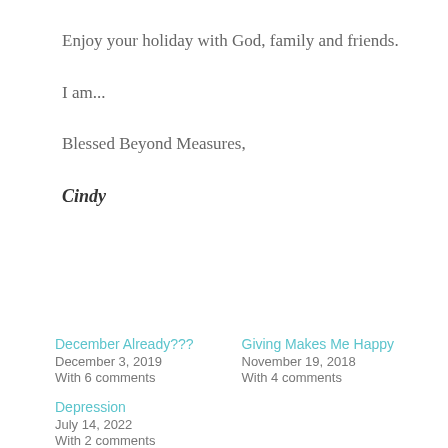Enjoy your holiday with God, family and friends.
I am...
Blessed Beyond Measures,
Cindy
December Already???
December 3, 2019
With 6 comments
Giving Makes Me Happy
November 19, 2018
With 4 comments
Depression
July 14, 2022
With 2 comments